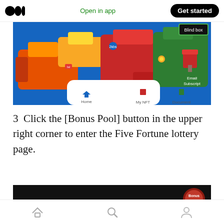Open in app  Get started
[Figure (screenshot): Mobile app screenshot showing a pixel-art world map with colorful continents (orange, yellow, red, green) on a blue background. Overlays include a 'Blind box' label in the upper right and 'Email Subscript' below it, plus a bottom navigation bar with Home, My NFT, and Document tabs.]
3  Click the [Bonus Pool] button in the upper right corner to enter the Five Fortune lottery page.
[Figure (screenshot): Mobile app screenshot with black background showing colorful text 'Free Blind Box' in pixel/retro style font, and a 'Bonus Pool' badge with 'Get 8000 COCOS' text in upper right.]
Home  Search  Profile